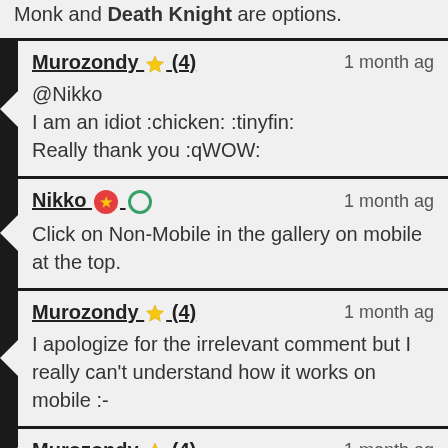Monk and Death Knight are options.
Murozondy (★4) — 1 month ago
@Nikko
I am an idiot :chicken: :tinyfin:
Really thank you :qWOW:
Nikko ★○ — 1 month ago
Click on Non-Mobile in the gallery on mobile at the top.
Murozondy (★4) — 1 month ago
I apologize for the irrelevant comment but I really can't understand how it works on mobile :-
Murozondy (★4) — 1 month ago
Hi!